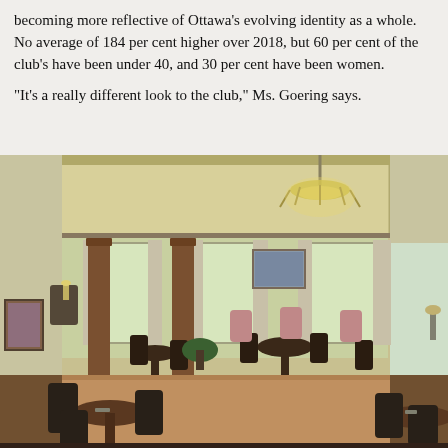becoming more reflective of Ottawa's evolving identity as a whole. No average of 184 per cent higher over 2018, but 60 per cent of the club's have been under 40, and 30 per cent have been women.
“It’s a really different look to the club,” Ms. Goering says.
[Figure (photo): Interior of an elegant club dining room with dark wood columns, patterned carpet, dark wood dining chairs and round tables, pink upholstered chairs, a chandelier, tall windows with drapes, and a landscape painting on the wall. The ceiling has a raised coffered section painted pale yellow.]